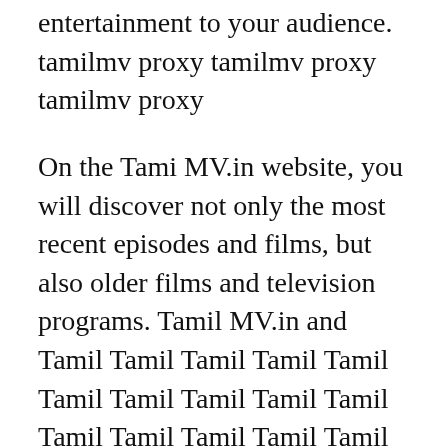entertainment to your audience. tamilmv proxy tamilmv proxy tamilmv proxy
On the Tami MV.in website, you will discover not only the most recent episodes and films, but also older films and television programs. Tamil MV.in and Tamil Tamil Tamil Tamil Tamil Tamil Tamil Tamil Tamil Tamil Tamil Tamil Tamil Tamil Tamil Tamil Tamil Tamil Tamil MV is a well-known free movie download service that offers a wide range of films in a variety of languages. Online movies may be viewed or downloaded.